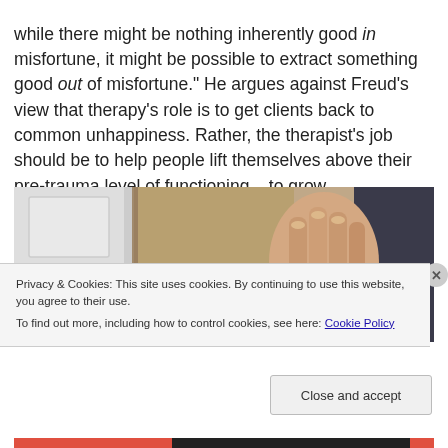while there might be nothing inherently good in misfortune, it might be possible to extract something good out of misfortune." He argues against Freud's view that therapy's role is to get clients back to common unhappiness. Rather, the therapist's job should be to help people lift themselves above their pre-trauma level of functioning – to grow.
[Figure (photo): Close-up photo of a hand (knuckles visible, wearing dark sleeve) gripping or touching a white door frame or panel, with a tan/brown wall visible in background.]
Privacy & Cookies: This site uses cookies. By continuing to use this website, you agree to their use. To find out more, including how to control cookies, see here: Cookie Policy
Close and accept